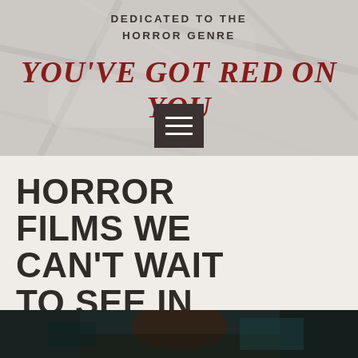[Figure (screenshot): Website header with marble texture background showing 'DEDICATED TO THE HORROR GENRE' text above the site title 'YOU'VE GOT RED ON YOU' in red italic font, with a dark grey hamburger menu button below]
HORROR FILMS WE CAN'T WAIT TO SEE IN 2019
[Figure (photo): Partial photo at the bottom of the page showing what appears to be a horror film scene]